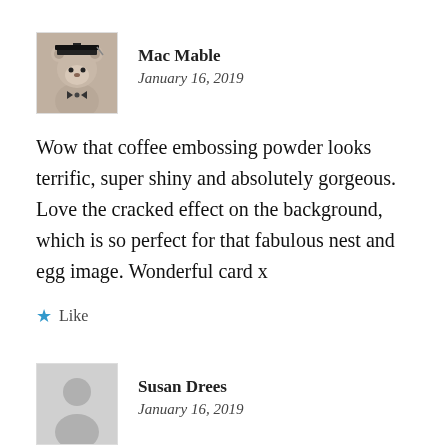[Figure (photo): Avatar photo of Mac Mable — a teddy bear wearing a graduation cap and bow tie]
Mac Mable
January 16, 2019
Wow that coffee embossing powder looks terrific, super shiny and absolutely gorgeous. Love the cracked effect on the background, which is so perfect for that fabulous nest and egg image. Wonderful card x
Like
[Figure (illustration): Generic person silhouette avatar for Susan Drees]
Susan Drees
January 16, 2019